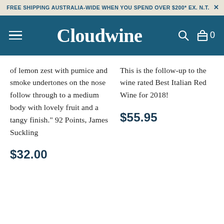FREE SHIPPING AUSTRALIA-WIDE WHEN YOU SPEND OVER $200* EX. N.T.
Cloudwine
of lemon zest with pumice and smoke undertones on the nose follow through to a medium body with lovely fruit and a tangy finish." 92 Points, James Suckling
$32.00
This is the follow-up to the wine rated Best Italian Red Wine for 2018!
$55.95